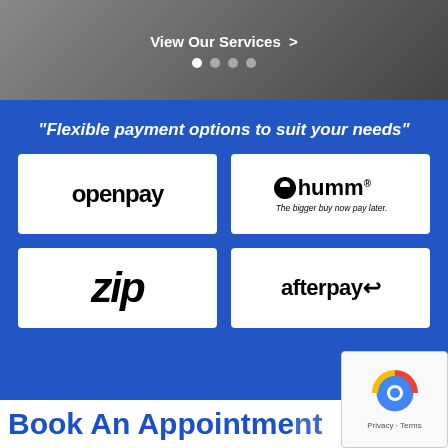View Our Services >
[Figure (screenshot): Payment options section on a dental or medical service website showing a blue background with four payment provider logos: Openpay, humm (The bigger buy now pay later.), zip, and afterpay]
“Flexible payment options to suit your needs”
Book An Appointment